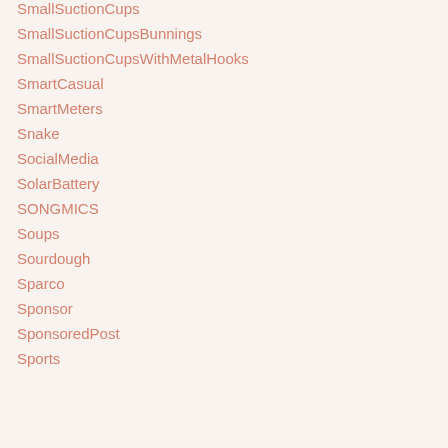SmallSuctionCups
SmallSuctionCupsBunnings
SmallSuctionCupsWithMetalHooks
SmartCasual
SmartMeters
Snake
SocialMedia
SolarBattery
SONGMICS
Soups
Sourdough
Sparco
Sponsor
SponsoredPost
Sports